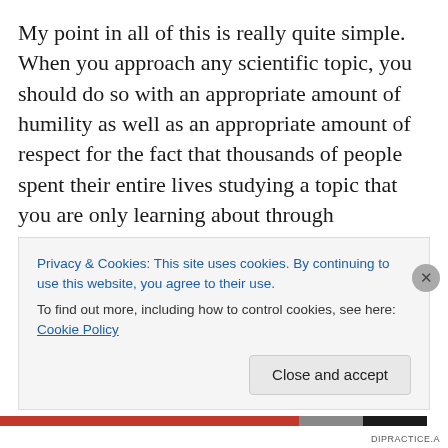My point in all of this is really quite simple. When you approach any scientific topic, you should do so with an appropriate amount of humility as well as an appropriate amount of respect for the fact that thousands of people spent their entire lives studying a topic that you are only learning about through Wikipedia. Anytime that an argument requires you to think that the entire scientific community is hopelessly stupid, ignorant, incompetent, etc. you should be extremely skeptical. Scientists aren't stupid, and if you think you have found something simple and obvious that all of them have missed, you are almost
Privacy & Cookies: This site uses cookies. By continuing to use this website, you agree to their use.
To find out more, including how to control cookies, see here: Cookie Policy
Close and accept